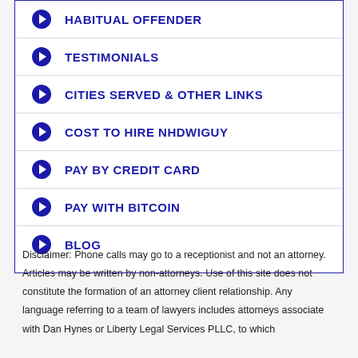HABITUAL OFFENDER
TESTIMONIALS
CITIES SERVED & OTHER LINKS
COST TO HIRE NHDWIGUY
PAY BY CREDIT CARD
PAY WITH BITCOIN
BLOG
Disclaimer: Phone calls may go to a receptionist and not an attorney. Articles may be written by non-attorneys. Use of this site does not constitute the formation of an attorney client relationship. Any language referring to a team of lawyers includes attorneys associate with Dan Hynes or Liberty Legal Services PLLC, to which